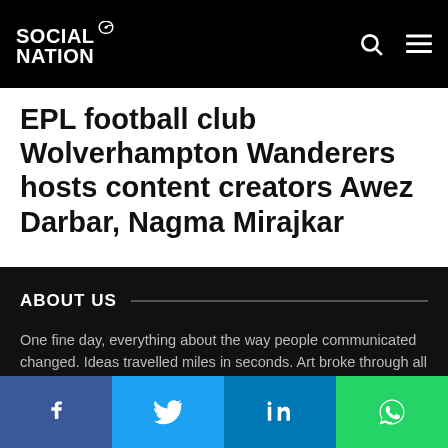Social Nation
EPL football club Wolverhampton Wanderers hosts content creators Awez Darbar, Nagma Mirajkar
ABOUT US
One fine day, everything about the way people communicated changed. Ideas travelled miles in seconds. Art broke through all its barriers. Opinions spoken in one corner were heard across the world. Creators took birth in every nook of the country. Superstars